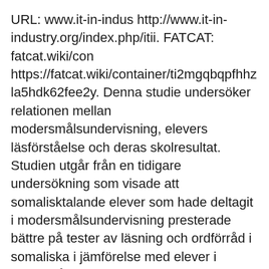URL: www.it-in-indus http://www.it-in-industry.org/index.php/itii. FATCAT: fatcat.wiki/con https://fatcat.wiki/container/ti2mgqbqpfhhzla5hdk62fee2y. Denna studie undersöker relationen mellan modersmålsundervisning, elevers läsförståelse och deras skolresultat. Studien utgår från en tidigare undersökning som visade att somalisktalande elever som hade deltagit i modersmålsundervisning presterade bättre på tester av läsning och ordförråd i somaliska i jämförelse med elever i samma åldrar som inte deltagit i undervisningen No. ISSN are assigned to the entire serial and stay the same from issue to issue unless you change the title of your serial in any way except to increment the date (e.g., The World of Serials 1996 to The World of Serials 1997).